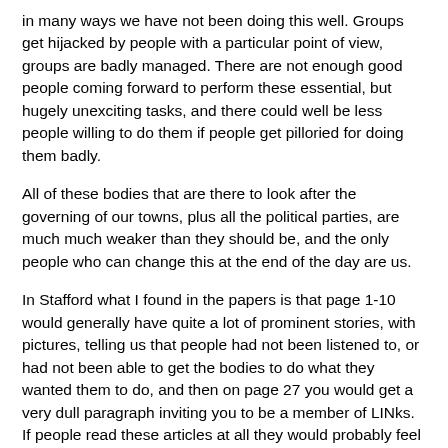in many ways we have not been doing this well. Groups get hijacked by people with a particular point of view, groups are badly managed. There are not enough good people coming forward to perform these essential, but hugely unexciting tasks, and there could well be less people willing to do them if people get pilloried for doing them badly.
All of these bodies that are there to look after the governing of our towns, plus all the political parties, are much much weaker than they should be, and the only people who can change this at the end of the day are us.
In Stafford what I found in the papers is that page 1-10 would generally have quite a lot of prominent stories, with pictures, telling us that people had not been listened to, or had not been able to get the bodies to do what they wanted them to do, and then on page 27 you would get a very dull paragraph inviting you to be a member of LINks. If people read these articles at all they would probably feel that it has nothing to do with them. Why would anyone bother?
This is completely in line with any paper I have dealt with over the last 20 years, where you can simply never guarantee that events which rely on people to come to them will receive any degree of prominence.